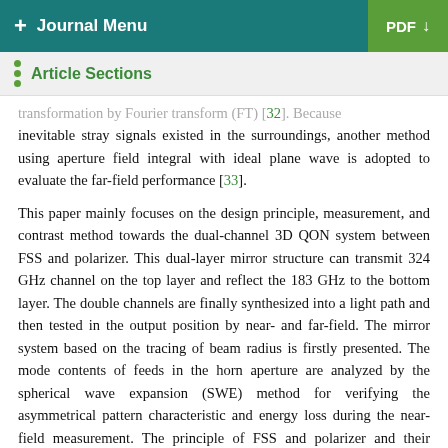+ Journal Menu | PDF ↓
Article Sections
transformation by Fourier transform (FT) [32]. Because inevitable stray signals existed in the surroundings, another method using aperture field integral with ideal plane wave is adopted to evaluate the far-field performance [33].
This paper mainly focuses on the design principle, measurement, and contrast method towards the dual-channel 3D QON system between FSS and polarizer. This dual-layer mirror structure can transmit 324 GHz channel on the top layer and reflect the 183 GHz to the bottom layer. The double channels are finally synthesized into a light path and then tested in the output position by near- and far-field. The mirror system based on the tracing of beam radius is firstly presented. The mode contents of feeds in the horn aperture are analyzed by the spherical wave expansion (SWE) method for verifying the asymmetrical pattern characteristic and energy loss during the near-field measurement. The principle of FSS and polarizer and their measurement results are also discussed in Section 2. The direct near-field planar measurement and three kinds of far-field results are compared in